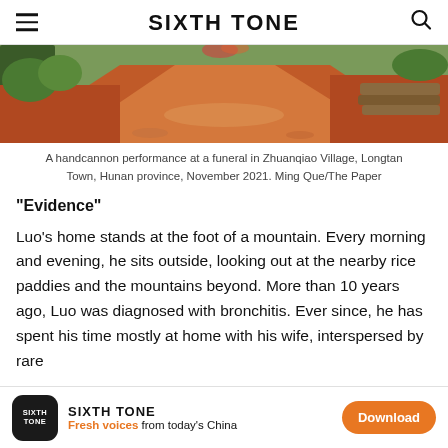SIXTH TONE
[Figure (photo): A dirt path through a rural landscape with red clay soil, trees and vegetation on the sides, and stacked logs visible on the right. A handcannon performance at a funeral in Zhuanqiao Village, Longtan Town, Hunan province, November 2021.]
A handcannon performance at a funeral in Zhuanqiao Village, Longtan Town, Hunan province, November 2021. Ming Que/The Paper
“Evidence”
Luo’s home stands at the foot of a mountain. Every morning and evening, he sits outside, looking out at the nearby rice paddies and the mountains beyond. More than 10 years ago, Luo was diagnosed with bronchitis. Ever since, he has spent his time mostly at home with his wife, interspersed by rare
SIXTH TONE — Fresh voices from today’s China — Download